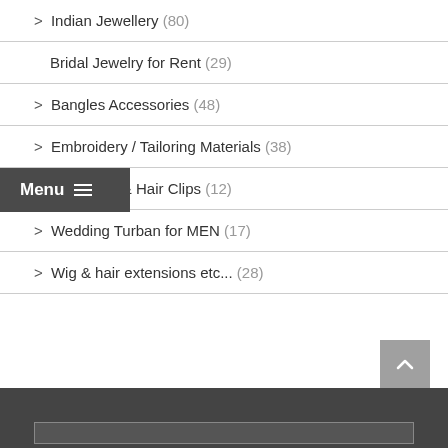> Indian Jewellery (80)
Bridal Jewelry for Rent (29)
> Bangles Accessories (48)
> Embroidery / Tailoring Materials (38)
> Hair Band & Hair Clips (12)
> Wedding Turban for MEN (17)
> Wig & hair extensions etc... (28)